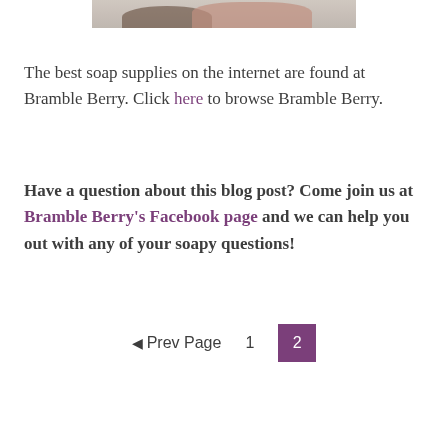[Figure (photo): Cropped photo showing a hand, partially visible at the top of the page]
The best soap supplies on the internet are found at Bramble Berry. Click here to browse Bramble Berry.
Have a question about this blog post? Come join us at Bramble Berry's Facebook page and we can help you out with any of your soapy questions!
◄ Prev Page   1   2